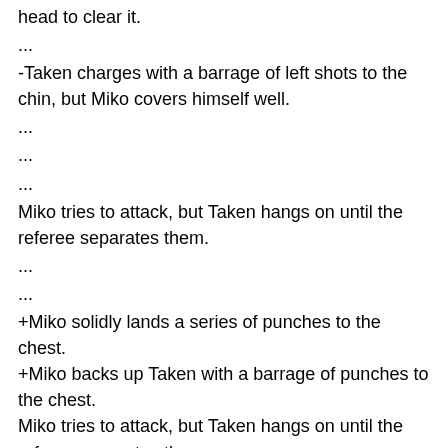head to clear it.
...
-Taken charges with a barrage of left shots to the chin, but Miko covers himself well.
...
...
...
Miko tries to attack, but Taken hangs on until the referee separates them.
...
...
+Miko solidly lands a series of punches to the chest.
+Miko backs up Taken with a barrage of punches to the chest.
Miko tries to attack, but Taken hangs on until the referee separates them.
...
...
...